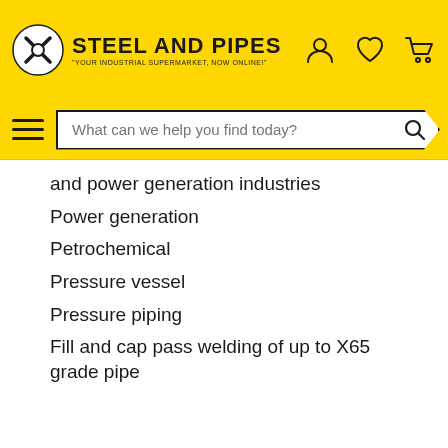STEEL AND PIPES - "YOUR INDUSTRIAL SUPERMARKET, NOW ONLINE!"
and power generation industries
Power generation
Petrochemical
Pressure vessel
Pressure piping
Fill and cap pass welding of up to X65 grade pipe